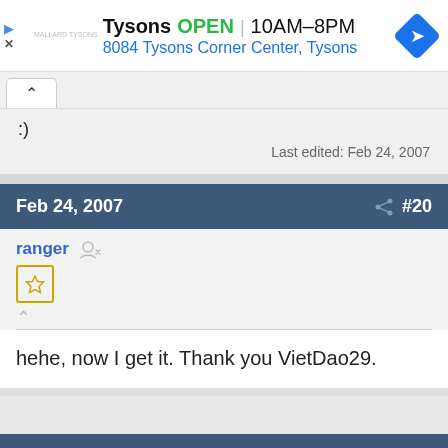[Figure (screenshot): Ad banner for Tysons store showing OPEN status, hours 10AM-8PM, address 8084 Tysons Corner Center Tysons, with navigation arrow icon]
:)
Last edited: Feb 24, 2007
Feb 24, 2007  #20
ranger
hehe, now I get it. Thank you VietDao29.